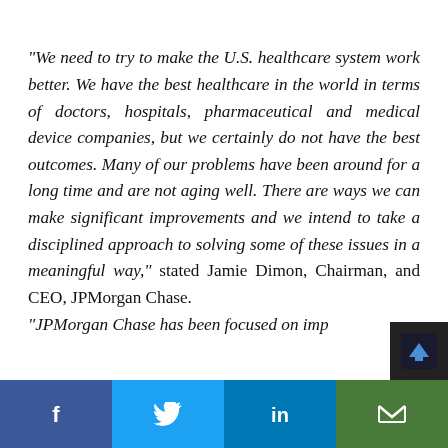“We need to try to make the U.S. healthcare system work better. We have the best healthcare in the world in terms of doctors, hospitals, pharmaceutical and medical device companies, but we certainly do not have the best outcomes. Many of our problems have been around for a long time and are not aging well. There are ways we can make significant improvements and we intend to take a disciplined approach to solving some of these issues in a meaningful way,” stated Jamie Dimon, Chairman, and CEO, JPMorgan Chase.
“JPMorgan Chase has been focused on imp…